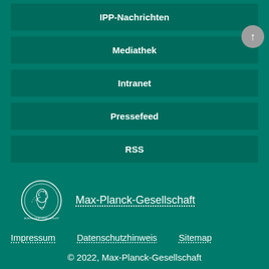IPP-Nachrichten
Mediathek
Intranet
Pressefeed
RSS
[Figure (logo): Max-Planck-Gesellschaft circular medallion logo with female portrait]
Max-Planck-Gesellschaft
Impressum   Datenschutzhinweis   Sitemap
© 2022, Max-Planck-Gesellschaft